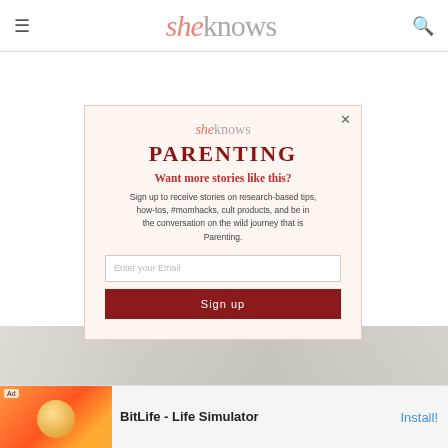sheknows
[Figure (screenshot): sheknows website modal popup for Parenting newsletter signup with logo, category heading, tagline, description, email input field, and sign up button on a light beige background]
[Figure (photo): Bottom strip showing a faint background image]
[Figure (other): Ad banner for BitLife - Life Simulator app with orange background and emoji-style character, with Install button]